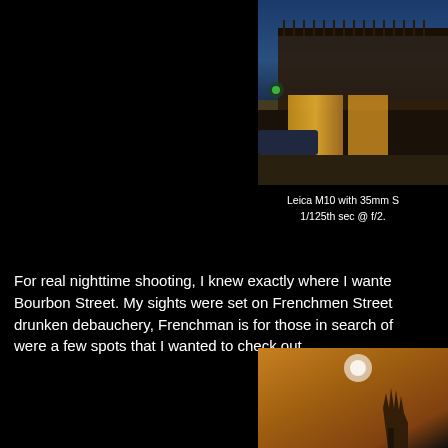[Figure (photo): Night street scene in New Orleans showing a building with balcony, lit storefront at dusk with blue sky]
Leica M10 with 35mm S
1/125th sec @ f/2.
For real nighttime shooting, I knew exactly where I wante Bourbon Street. My sights were set on Frenchmen Street drunken debauchery, Frenchman is for those in search of were a few spots that I wanted to check out.
[Figure (photo): Close-up of a hand raised, with blurred warm background lights, appears to be a musician or performer on Frenchmen Street]